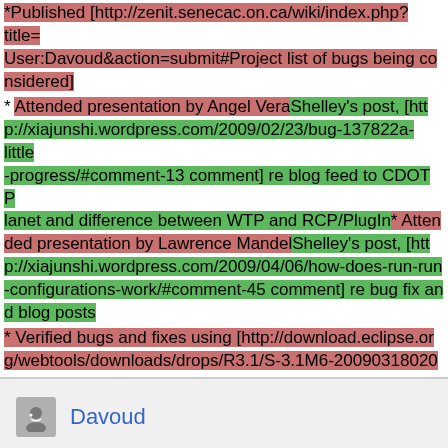*Published [http://zenit.senecac.on.ca/wiki/index.php?title=User:Davoud&action=submit#Project list of bugs being considered]
* Attended presentation by Angel VeraShelley's post, [http://xiajunshi.wordpress.com/2009/02/23/bug-137822a-little-progress/#comment-13 comment] re blog feed to CDOT Planet and difference between WTP and RCP/PlugIn* Attended presentation by Lawrence MandelShelley's post, [http://xiajunshi.wordpress.com/2009/04/06/how-does-run-run-configurations-work/#comment-45 comment] re bug fix and blog posts
* Verified bugs and fixes using [http://download.eclipse.org/webtools/downloads/drops/R3.1/S-3.1M6-20090318020
Davoud
1
EDIT